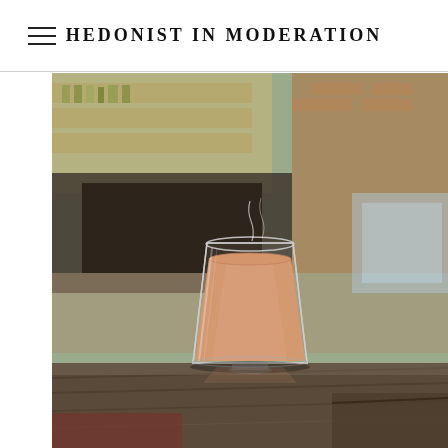HEDONIST IN MODERATION
[Figure (photo): A glass of milky chai tea (Indian tea with milk) sitting on a wooden table, with a blurred background of a rustic outdoor setting with brick walls and shelves. The glass is clear and the tea is a warm caramel/peach color with visible steam rising from the top.]